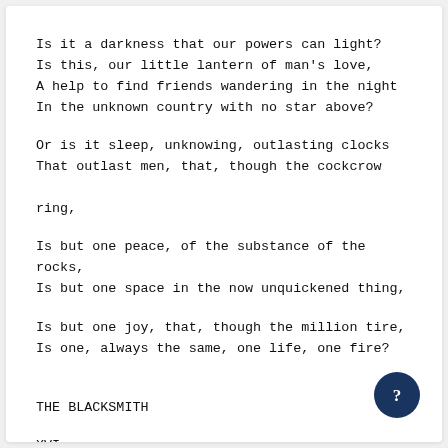Is it a darkness that our powers can light?
Is this, our little lantern of man's love,
A help to find friends wandering in the night
In the unknown country with no star above?
Or is it sleep, unknowing, outlasting clocks
That outlast men, that, though the cockcrow

ring,
Is but one peace, of the substance of the rocks,
Is but one space in the now unquickened thing,
Is but one joy, that, though the million tire,
Is one, always the same, one life, one fire?
THE BLACKSMITH
XVI
The blacksmith in his sparky forge